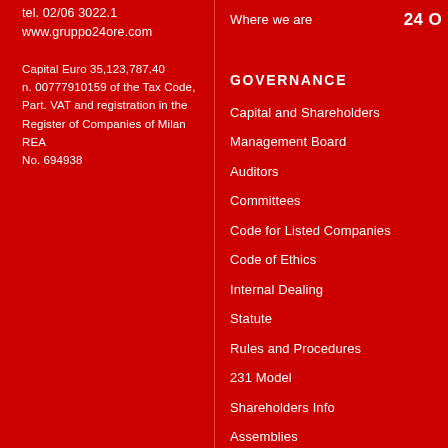tel. 02/06 3022.1
www.gruppo24ore.com
Capital Euro 35,123,787.40
n. 00777910159 of the Tax Code,
Part. VAT and registration in the
Register of Companies of Milan REA
No. 694938
24 O
Where we are
GOVERNANCE
Capital and Shareholders
Management Board
Auditors
Committees
Code for Listed Companies
Code of Ethics
Internal Dealing
Statute
Rules and Procedures
231 Model
Shareholders Info
Assemblies